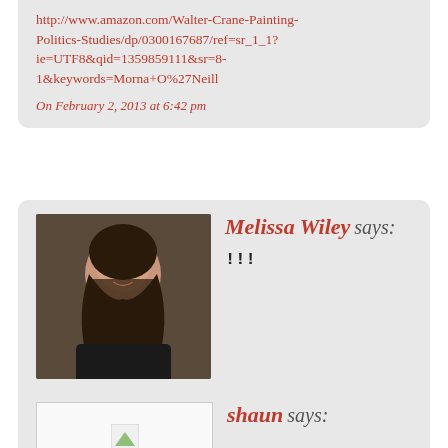http://www.amazon.com/Walter-Crane-Painting-Politics-Studies/dp/0300167687/ref=sr_1_1?ie=UTF8&qid=1359859111&sr=8-1&keywords=Morna+O%27Neill
On February 2, 2013 at 6:42 pm
Melissa Wiley says:
!!!
USD had a copy–it's on its way. Thanks so much for the tip. Looks fascinating!
On February 2, 2013 at 6:57 pm
shaun says: